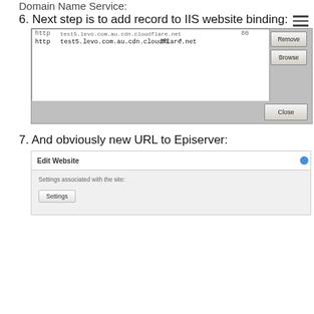Domain Name Service:
6. Next step is to add record to IIS website binding:
[Figure (screenshot): IIS website bindings dialog showing http entries including test5.levo.com.au.cdn.cloudflare.net on port 80, with Remove, Browse, and Close buttons]
7. And obviously new URL to Episerver:
[Figure (screenshot): Episerver Edit Website dialog showing Settings associated with the site section with a Settings button]